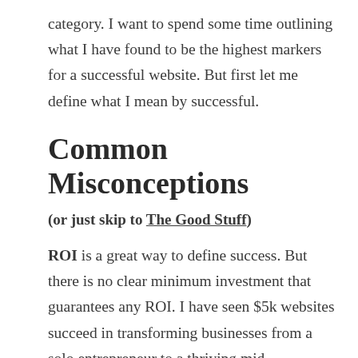category. I want to spend some time outlining what I have found to be the highest markers for a successful website. But first let me define what I mean by successful.
Common Misconceptions
(or just skip to The Good Stuff)
ROI is a great way to define success. But there is no clear minimum investment that guarantees any ROI. I have seen $5k websites succeed in transforming businesses from a solo entrepreneur to a thriving mid-